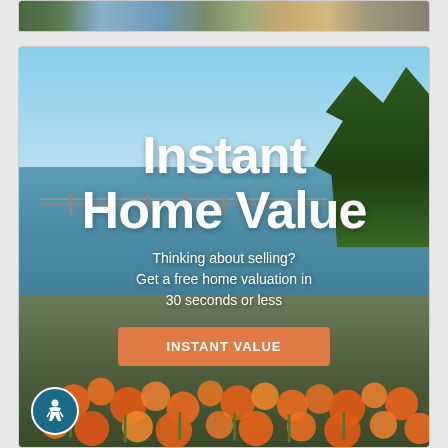[Figure (photo): Partial view of a landscape/outdoor photo strip at the top of the page, showing what appears to be a waterfront or nature scene]
[Figure (infographic): Real estate advertisement banner with a scenic waterfront photo background showing a bridge over water with orange poppies in the foreground and green trees on the right. Large white bold text reads 'Instant Home Value' with subtext 'Thinking about selling? Get a free home valuation in 30 seconds or less' and an orange button labeled 'INSTANT VALUE'. Accessibility icon in the bottom-left corner.]